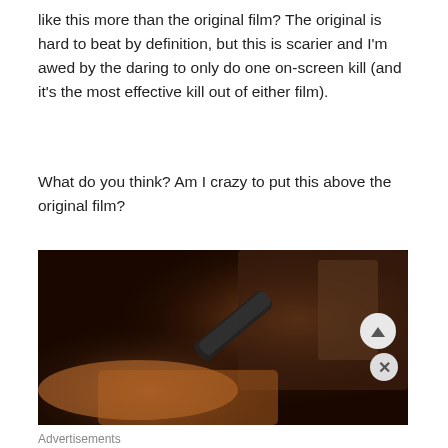like this more than the original film? The original is hard to beat by definition, but this is scarier and I'm awed by the daring to only do one on-screen kill (and it's the most effective kill out of either film).
What do you think? Am I crazy to put this above the original film?
[Figure (photo): A dark cinematic still from a film showing a person lying down in an orange outfit while another person leans over them holding what appears to be a tool or weapon]
Advertisements